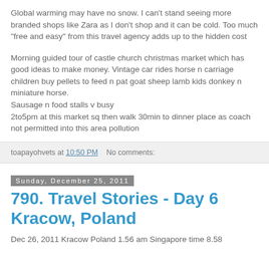Global warming may have no snow. I can't stand seeing more branded shops like Zara as I don't shop and it can be cold. Too much "free and easy" from this travel agency adds up to the hidden cost
Morning guided tour of castle church christmas market which has good ideas to make money. Vintage car rides horse n carriage children buy pellets to feed n pat goat sheep lamb kids donkey n miniature horse.
Sausage n food stalls v busy
2to5pm at this market sq then walk 30min to dinner place as coach not permitted into this area pollution
toapayohvets at 10:50 PM   No comments:
Sunday, December 25, 2011
790. Travel Stories - Day 6 Kracow, Poland
Dec 26, 2011 Kracow Poland 1.56 am Singapore time 8.58